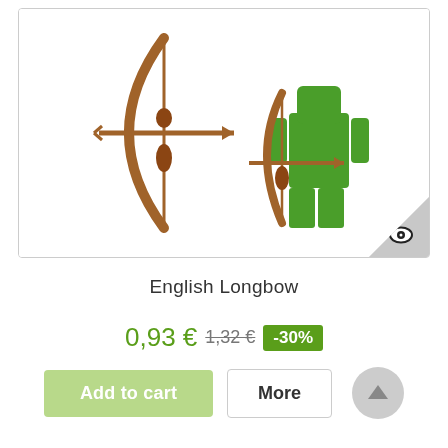[Figure (photo): Product photo showing two brown LEGO-style bow and arrow pieces, one standalone and one held by a green LEGO minifigure. An eye icon appears in the bottom-right corner triangle.]
English Longbow
0,93 € 1,32 € -30%
Add to cart   More